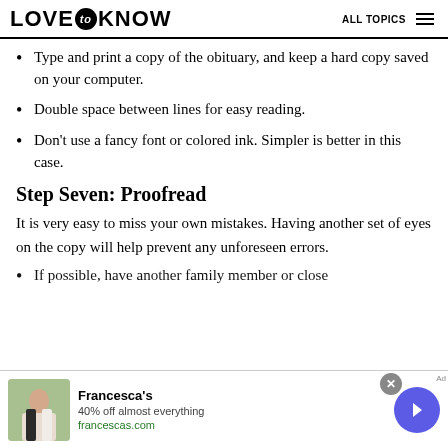LOVE to KNOW  ALL TOPICS
Type and print a copy of the obituary, and keep a hard copy saved on your computer.
Double space between lines for easy reading.
Don't use a fancy font or colored ink. Simpler is better in this case.
Step Seven: Proofread
It is very easy to miss your own mistakes. Having another set of eyes on the copy will help prevent any unforeseen errors.
If possible, have another family member or close...
[Figure (other): Francesca's advertisement banner with photo of woman, 40% off almost everything, francescas.com, with close button and arrow button]